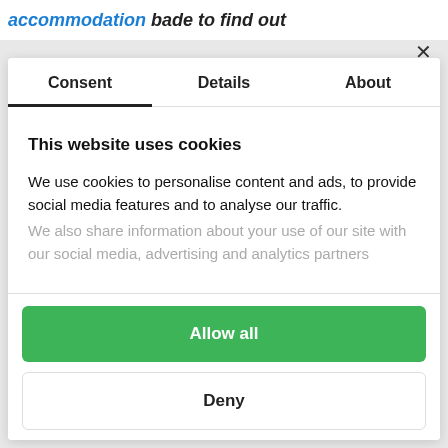accommodation bade to find out
×
Consent | Details | About
This website uses cookies
We use cookies to personalise content and ads, to provide social media features and to analyse our traffic. We also share information about your use of our site with our social media, advertising and analytics partners
Allow all
Deny